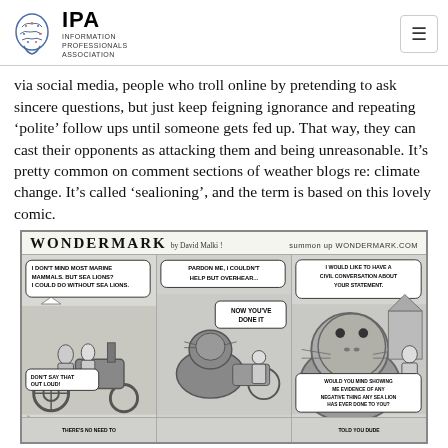IPA Information Professionals Association
via social media, people who troll online by pretending to ask sincere questions, but just keep feigning ignorance and repeating ‘polite’ follow ups until someone gets fed up. That way, they can cast their opponents as attacking them and being unreasonable. It’s pretty common on comment sections of weather blogs re: climate change. It’s called ‘sealioning’, and the term is based on this lovely comic.
[Figure (illustration): Wondermark comic strip by David Malki showing a sealioning scenario. Panel 1: Two people on a steam vehicle, one saying 'I don't mind most marine mammals, but SEA LIONS? I could do without sea lions.' and 'Don't say that out loud!' Panel 2: A sea lion appears saying 'Pardon me, I couldn't help but overhear...' with person responding 'NOW YOU'VE DONE IT'. Panel 3: Sea lion says 'I would like to have a civil conversation about your statement.' and 'Would you mind showing me evidence of any negative thing any sea lion has ever done to you?' Bottom strip shows partial panels with 'THERE'S NO NEED TO' and 'TOLD YOU DUDE'.]